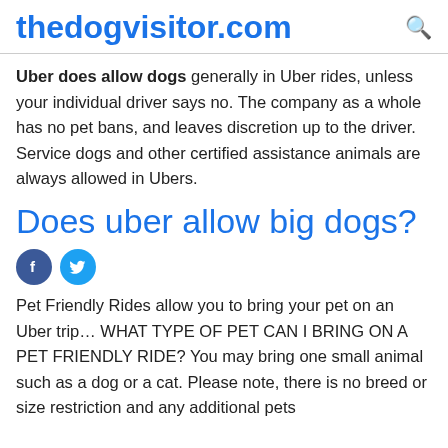thedogvisitor.com
Uber does allow dogs generally in Uber rides, unless your individual driver says no. The company as a whole has no pet bans, and leaves discretion up to the driver. Service dogs and other certified assistance animals are always allowed in Ubers.
Does uber allow big dogs?
[Figure (other): Social media share icons: Facebook (blue circle with f) and Twitter (cyan circle with bird)]
Pet Friendly Rides allow you to bring your pet on an Uber trip… WHAT TYPE OF PET CAN I BRING ON A PET FRIENDLY RIDE? You may bring one small animal such as a dog or a cat. Please note, there is no breed or size restriction and any additional pets